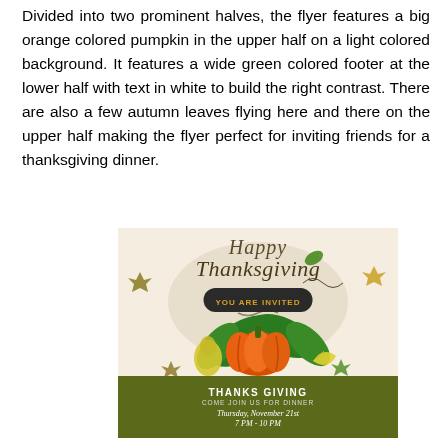Divided into two prominent halves, the flyer features a big orange colored pumpkin in the upper half on a light colored background. It features a wide green colored footer at the lower half with text in white to build the right contrast. There are also a few autumn leaves flying here and there on the upper half making the flyer perfect for inviting friends for a thanksgiving dinner.
[Figure (illustration): A Thanksgiving dinner invitation flyer divided into two halves. Upper half shows 'Happy Thanksgiving' in cursive script on a light beige background with an orange pumpkin, green leaves, autumn leaves, and a 'YOU ARE INVITED' badge in a dark rounded rectangle with yellow text. Lower half is dark olive green with white bold text 'THANKS GIVING', 'COME JOIN US FOR DINNER', 'Thursday, November 21st', '7 PM - 10 PM'.]